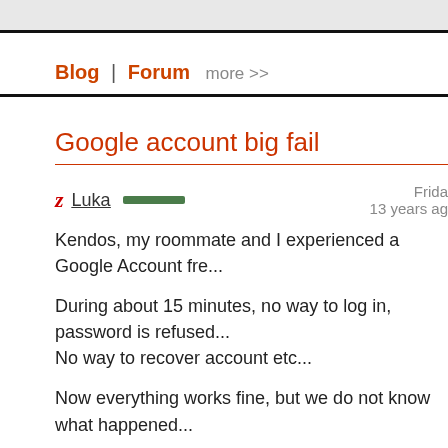Blog | Forum  more >>
Google account big fail
Luka  Friday  13 years ago
Kendos, my roommate and I experienced a Google Account fre...
During about 15 minutes, no way to log in, password is refused... No way to recover account etc...
Now everything works fine, but we do not know what happened...
TOMHTML